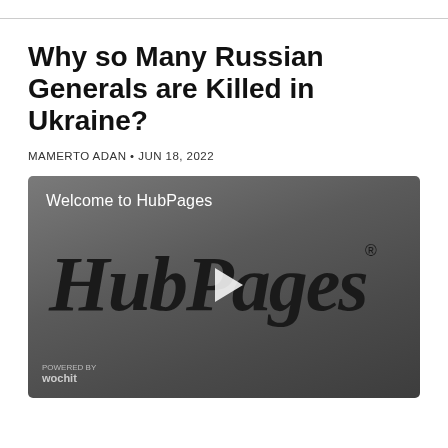Why so Many Russian Generals are Killed in Ukraine?
MAMERTO ADAN • JUN 18, 2022
[Figure (screenshot): HubPages video player showing 'Welcome to HubPages' text with HubPages logo and play button in the center. Wochit branding at bottom left.]